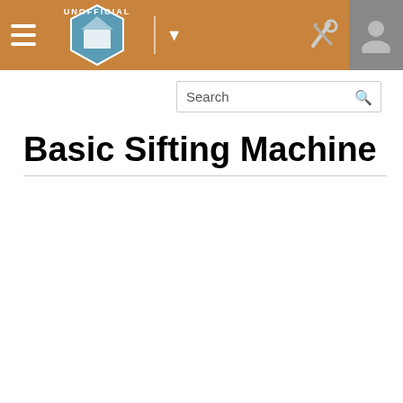UNOFFICIAL [navigation bar with hamburger menu, logo, dropdown arrow, tools icon, user icon]
Basic Sifting Machine